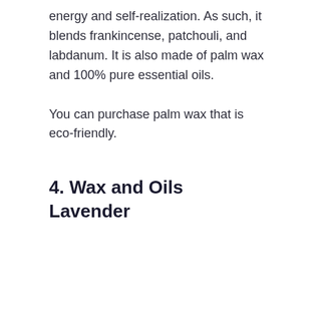energy and self-realization. As such, it blends frankincense, patchouli, and labdanum. It is also made of palm wax and 100% pure essential oils.
You can purchase palm wax that is eco-friendly.
4. Wax and Oils Lavender